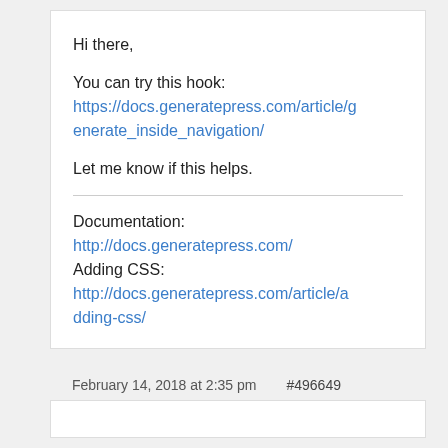Hi there,
You can try this hook: https://docs.generatepress.com/article/generate_inside_navigation/
Let me know if this helps.
Documentation:
http://docs.generatepress.com/
Adding CSS:
http://docs.generatepress.com/article/adding-css/
February 14, 2018 at 2:35 pm   #496649